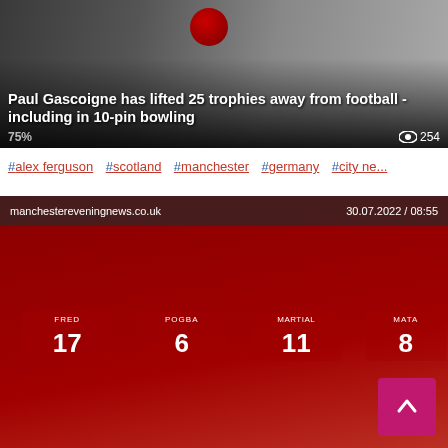[Figure (photo): News article card with photo background showing bowling. Headline: Paul Gascoigne has lifted 25 trophies away from football - including in 10-pin bowling. Views: 254. Percentage: 75%]
#alex ferguson  #scotland  #manchester  #germany  #city ne...
[Figure (photo): News article card. Source: manchestereveningnews.co.uk. Date: 30.07.2022 / 08:55. Red Manchester United jerseys with numbers 17 (FRED), 6 (POGBA), 11 (MARTIAL), 8 (MATA). Headline: Inside the Manchester United supporters' club where membership is booming - despite sacking of national hero. 93% views 131]
#alex ferguson  #peter schmeichel  #manchester  #norway  #.
[Figure (photo): Third news article card. Source: manchestereveningnews.co.uk. Date: 29.07.202... Partially visible, shows a person with head in hands.]